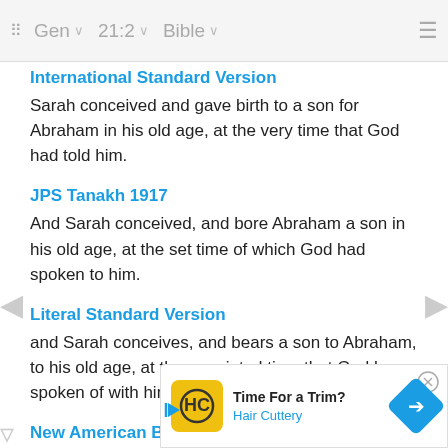Gen  21:2  Bible
International Standard Version
Sarah conceived and gave birth to a son for Abraham in his old age, at the very time that God had told him.
JPS Tanakh 1917
And Sarah conceived, and bore Abraham a son in his old age, at the set time of which God had spoken to him.
Literal Standard Version
and Sarah conceives, and bears a son to Abraham, to his old age, at the appointed time that God has spoken of with him;
New American Bible
Sarah... son in his ol...